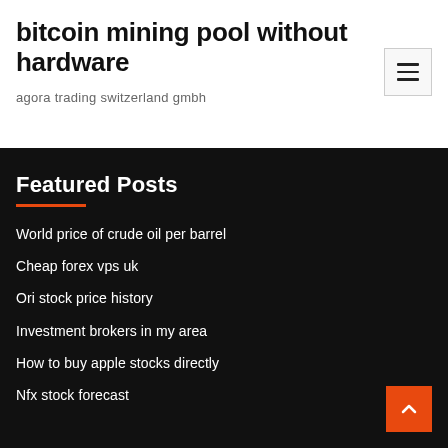bitcoin mining pool without hardware
agora trading switzerland gmbh
[Figure (other): Hamburger menu button icon with three horizontal lines]
Featured Posts
World price of crude oil per barrel
Cheap forex vps uk
Ori stock price history
Investment brokers in my area
How to buy apple stocks directly
Nfx stock forecast